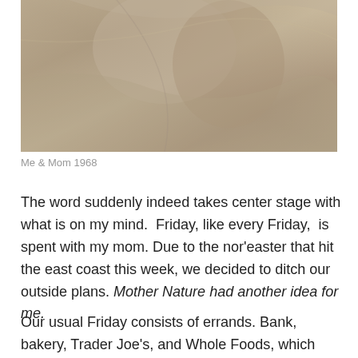[Figure (photo): Close-up vintage photograph, likely from 1968, showing a person (infant/child) and mother, with warm tan/beige tones, appears to be an old scanned photograph with soft focus.]
Me & Mom 1968
The word suddenly indeed takes center stage with what is on my mind.  Friday, like every Friday,  is spent with my mom. Due to the nor'easter that hit the east coast this week, we decided to ditch our outside plans. Mother Nature had another idea for me.
Our usual Friday consists of errands. Bank, bakery, Trader Joe's, and Whole Foods, which means we are in and out